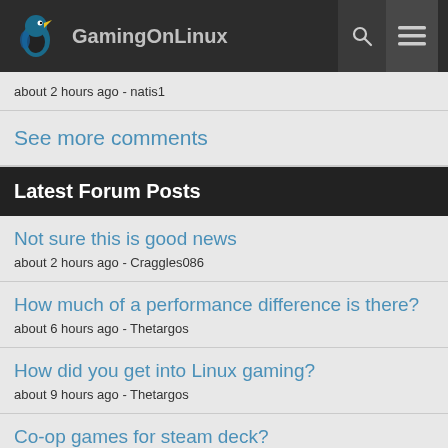GamingOnLinux
about 2 hours ago - natis1
See more comments
Latest Forum Posts
Not sure this is good news
about 2 hours ago - Craggles086
How much of a performance difference is there?
about 6 hours ago - Thetargos
How did you get into Linux gaming?
about 9 hours ago - Thetargos
Co-op games for steam deck?
about 11 hours ago - Thetargos